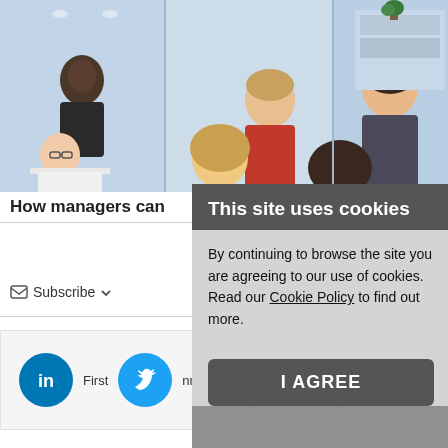[Figure (photo): Office meeting photo showing a group of people in a modern office setting, with multiple individuals including a Black woman, a man with glasses, and others around a table or desk.]
How managers can
Subscribe
[Figure (infographic): Social sharing bar with LinkedIn, Twitter, Facebook, Reddit, and email icons. Partial text labels 'First', 'nmen' visible.]
[Figure (screenshot): Cookie consent modal overlay. Title: 'This site uses cookies'. Body: 'By continuing to browse the site you are agreeing to our use of cookies. Read our Cookie Policy to find out more.' Button: 'I AGREE']